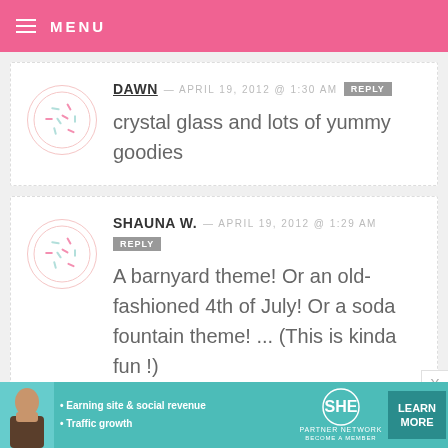MENU
DAWN — APRIL 19, 2012 @ 1:30 AM  REPLY
crystal glass and lots of yummy goodies
SHAUNA W. — APRIL 19, 2012 @ 1:29 AM  REPLY
A barnyard theme! Or an old-fashioned 4th of July! Or a soda fountain theme! ... (This is kinda fun !).
[Figure (infographic): SHE Partner Network advertisement banner with woman photo, bullet points about Earning site & social revenue and Traffic growth, SHE logo, and Learn More button]